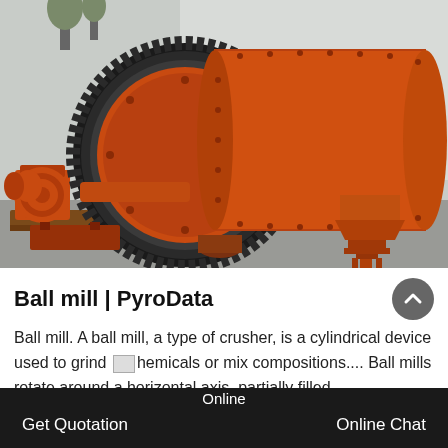[Figure (photo): Large orange industrial ball mill machine with cylindrical drum, large gear ring, and supporting frame, photographed outdoors in an industrial yard.]
Ball mill | PyroData
Ball mill. A ball mill, a type of crusher, is a cylindrical device used to grind chemicals or mix compositions.... Ball mills rotate around a horizontal axis, partially filled
Online   Get Quotation   Online Chat